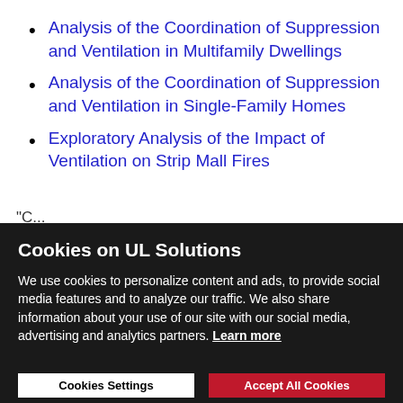Analysis of the Coordination of Suppression and Ventilation in Multifamily Dwellings
Analysis of the Coordination of Suppression and Ventilation in Single-Family Homes
Exploratory Analysis of the Impact of Ventilation on Strip Mall Fires
"C...
Cookies on UL Solutions
We use cookies to personalize content and ads, to provide social media features and to analyze our traffic. We also share information about your use of our site with our social media, advertising and analytics partners. Learn more
Cookies Settings | Accept All Cookies